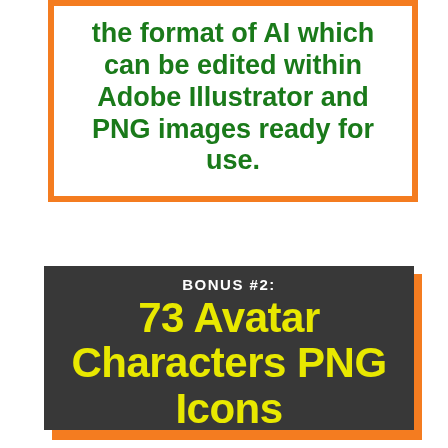the format of AI which can be edited within Adobe Illustrator and PNG images ready for use.
BONUS #2: 73 Avatar Characters PNG Icons